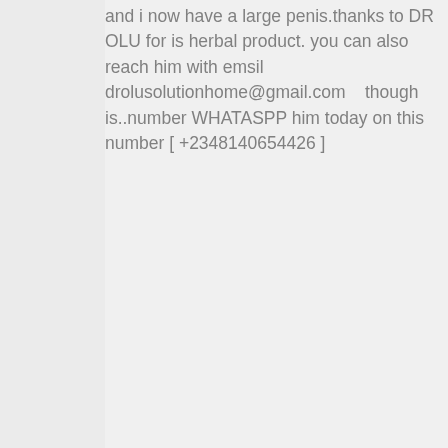and i now have a large penis.thanks to DR OLU for is herbal product. you can also reach him with emsil      drolusolutionhome@gmail.com   though is..number WHATASPP him today on this number [ +2348140654426 ]